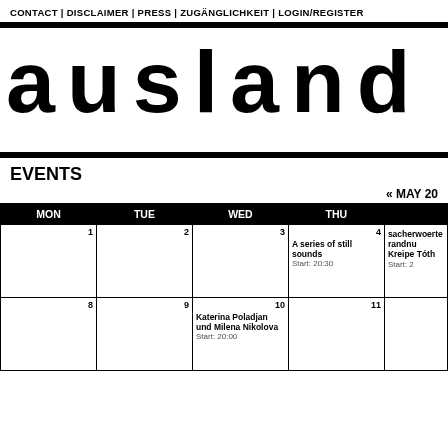CONTACT | DISCLAIMER | PRESS | ZUGÄNGLICHKEIT | LOGIN/REGISTER
ausland
EVENTS
« MAY 20
| MON | TUE | WED | THU |  |
| --- | --- | --- | --- | --- |
| 1 | 2 | 3 | A series of still sounds
Start: 20:30 | 4
sacherwoerte randnu Kreipe Tóth
Start: 2 |
| 8 | 9 | 10
Katerina Poladjan und Milena Nikolova
Start: 20:00 | 11 |  |